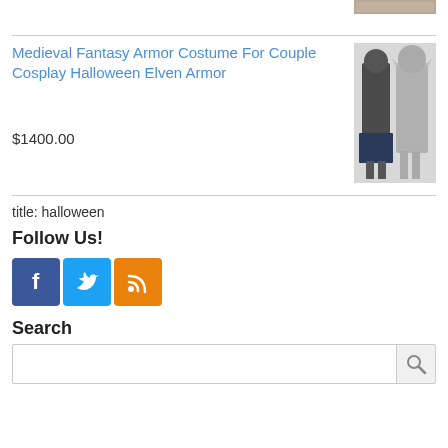[Figure (photo): Partially visible product image at top right corner]
Medieval Fantasy Armor Costume For Couple Cosplay Halloween Elven Armor
$1400.00
[Figure (photo): Two people wearing medieval fantasy armor costumes, one in black and silver, one in silver star-shaped armor]
title: halloween
Follow Us!
[Figure (infographic): Social media icons: Facebook (blue), Twitter (light blue), RSS (orange)]
Search
Search input box with magnifying glass icon